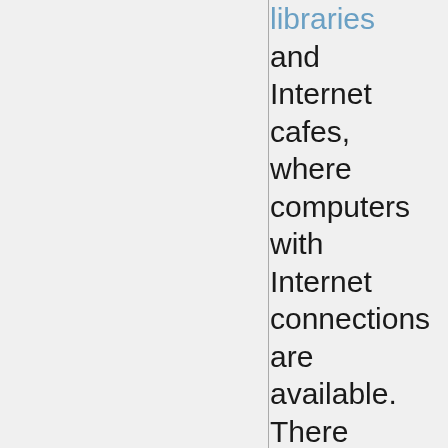libraries and Internet cafes, where computers with Internet connections are available. There are also Internet access